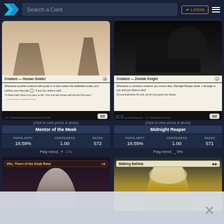Search a Card — LOGIN
[Figure (other): Magic: The Gathering card art for Mentor of the Meek — Creature Human Soldier card showing two figures in a hall, card text: Whenever another creature with power 2 or less enters the battlefield under your control, you may pay 1. If you do, draw a card. Flavor: In these halls there is no pass or fail. Your true test comes with the first full moon. 2/2]
(Click to view prices & decks)
Mentor of the Meek
| POPULARITY | COPIES/DECK | DECKS |
| --- | --- | --- |
| 18.58% | 1.00 | 572 |
Play trend: ↓ -1%
[Figure (other): Magic: The Gathering card art for Midnight Reaper — Creature Zombie Knight card showing dark figure, card text: Whenever a nontoken creature you control dies, Midnight Reaper deals 1 damage to you and you draw a card. Flavor: No one welcomes his visit, yet all must grant him tribute. 3/2]
(Click to view prices & decks)
Midnight Reaper
| POPULARITY | COPIES/DECK | DECKS |
| --- | --- | --- |
| 18.55% | 1.00 | 571 |
Play trend: = 0%
[Figure (other): Magic: The Gathering card art for Vito, Thorn of the Dusk Rose — partially visible card showing dark gothic artwork with a pale figure]
[Figure (other): Magic: The Gathering card art for Walking Ballista — partially visible card showing golden armored construct]